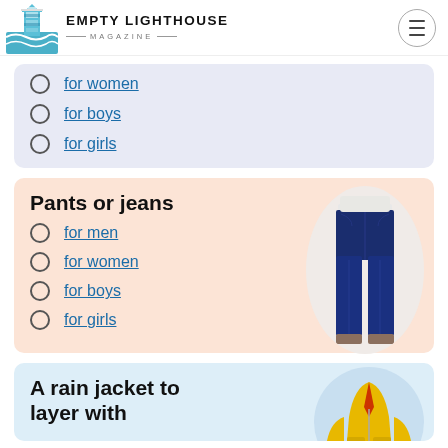EMPTY LIGHTHOUSE MAGAZINE
for women
for boys
for girls
Pants or jeans
for men
for women
for boys
for girls
[Figure (photo): Woman wearing dark blue skinny jeans, shown from waist down]
A rain jacket to layer with
[Figure (photo): Person wearing yellow rain jacket, partially visible]